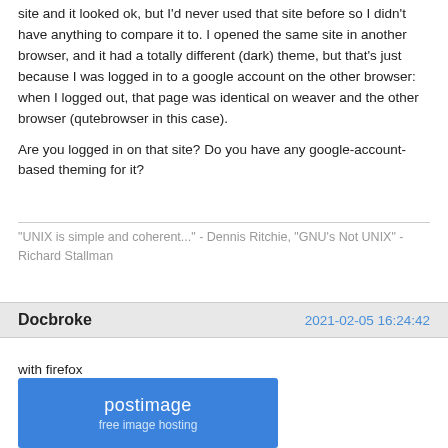site and it looked ok, but I'd never used that site before so I didn't have anything to compare it to.  I opened the same site in another browser, and it had a totally different (dark) theme, but that's just because I was logged in to a google account on the other browser: when I logged out, that page was identical on weaver and the other browser (qutebrowser in this case).

Are you logged in on that site?  Do you have any google-account-based theming for it?
"UNIX is simple and coherent..." - Dennis Ritchie, "GNU's Not UNIX" - Richard Stallman
Docbroke
2021-02-05 16:24:42
with firefox
[Figure (screenshot): Postimage free image hosting logo on blue background]